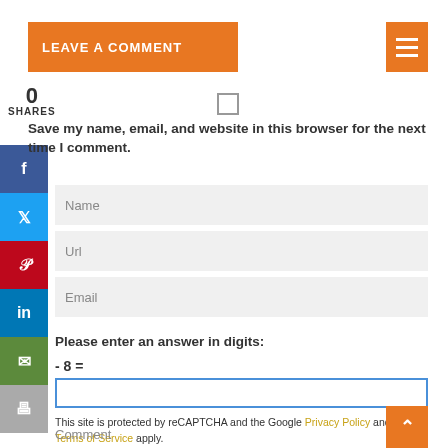LEAVE A COMMENT
0
SHARES
Save my name, email, and website in this browser for the next time I comment.
Name
Url
Email
Please enter an answer in digits:
- 8 =
This site is protected by reCAPTCHA and the Google Privacy Policy and Terms of Service apply.
Comment